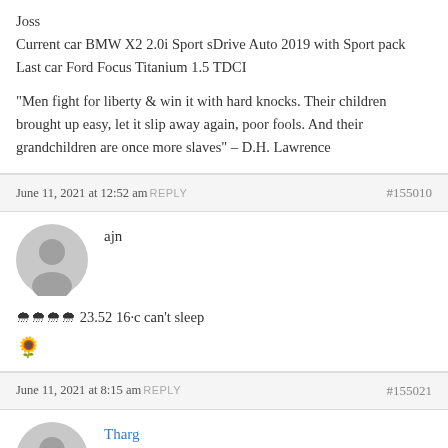Joss
Current car BMW X2 2.0i Sport sDrive Auto 2019 with Sport pack
Last car Ford Focus Titanium 1.5 TDCI

"Men fight for liberty & win it with hard knocks. Their children brought up easy, let it slip away again, poor fools. And their grandchildren are once more slaves" - D.H. Lawrence
June 11, 2021 at 12:52 am  REPLY   #155010
ajn
🌨🌨🌨🌨 23.52 16·c can't sleep
🌻
June 11, 2021 at 8:15 am  REPLY   #155021
Tharg